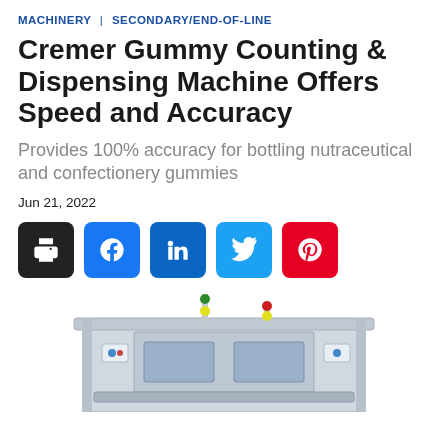MACHINERY | SECONDARY/END-OF-LINE
Cremer Gummy Counting & Dispensing Machine Offers Speed and Accuracy
Provides 100% accuracy for bottling nutraceutical and confectionery gummies
Jun 21, 2022
[Figure (infographic): Social sharing buttons: print (black), Facebook (blue), LinkedIn (dark blue), Twitter (light blue), Pinterest (red)]
[Figure (photo): Partial view of Cremer Gummy Counting & Dispensing Machine, an industrial packaging machine with metal frame, conveyor, and signal towers with green and red lights]